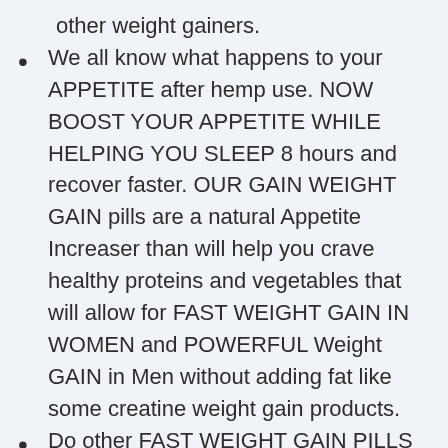other weight gainers.
We all know what happens to your APPETITE after hemp use. NOW BOOST YOUR APPETITE WHILE HELPING YOU SLEEP 8 hours and recover faster. OUR GAIN WEIGHT GAIN pills are a natural Appetite Increaser than will help you crave healthy proteins and vegetables that will allow for FAST WEIGHT GAIN IN WOMEN and POWERFUL Weight GAIN in Men without adding fat like some creatine weight gain products.
Do other FAST WEIGHT GAIN PILLS have appetite stimulants that keep you up at night? If other WEIGHT GAIN PILLS FOR MEN or GAIN WEIGT PILLS FOR WOMEN have not helped you stack on muscle and weight, TRY our award winning fast weight gain pills and